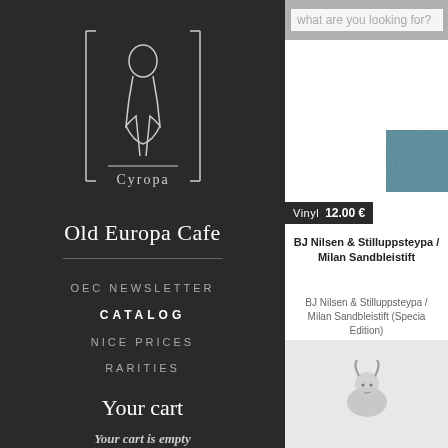[Figure (logo): Old Europa Cafe stylized logo with abstract figure and text 'Cyropa' or 'Europa' in decorative form]
Old Europa Cafe
OEC NEWSLETTER
CATALOG
NICE PRICES
RARITIES
Your cart
Your cart is empty
what are you looking for?
[Figure (photo): Small square album cover thumbnail with blue/teal textured surface]
Vinyl  12.00 €
BJ Nilsen & Stilluppsteypa / Milan Sandbleistift
BJ Nilsen & Stilluppsteypa / Milan Sandbleistift (Special Edition)
[Figure (photo): Partially visible album cover with a goat or animal illustration on white/grey background]